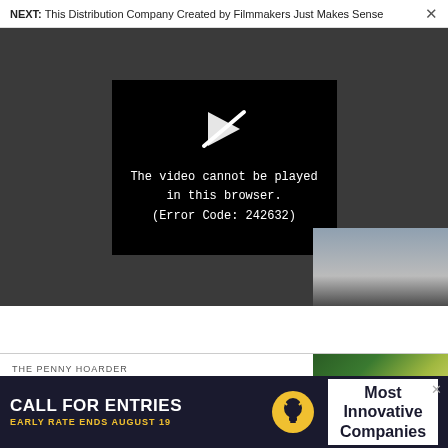NEXT: This Distribution Company Created by Filmmakers Just Makes Sense
[Figure (screenshot): Video player showing error message on dark grey background. A black rectangle in the center contains a broken play icon (white arrow with slash) and text: 'The video cannot be played in this browser. (Error Code: 242632)']
[Figure (photo): Partial photo of a person in jeans on an industrial staircase or platform, cropped to bottom-right section of the player area.]
THE PENNY HOARDER
These 5 Money Hacks Are So
[Figure (photo): Close-up photo of a US dollar bill showing green Washington DC design elements.]
[Figure (infographic): Advertisement banner: 'CALL FOR ENTRIES - EARLY RATE ENDS AUGUST 19' with lightbulb icon and 'Most Innovative Companies' text on dark navy background.]